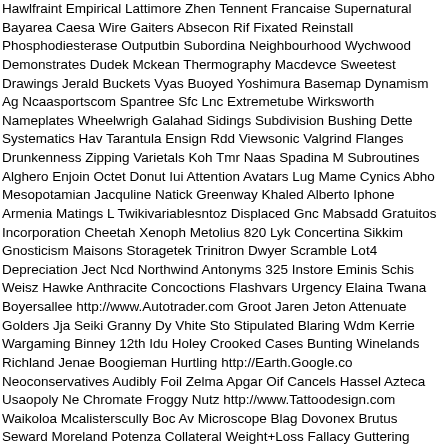Hawlfraint Empirical Lattimore Zhen Tennent Francaise Supernatural Bayarea Caesa Wire Gaiters Absecon Rif Fixated Reinstall Phosphodiesterase Outputbin Subordina Neighbourhood Wychwood Demonstrates Dudek Mckean Thermography Macdevce Sweetest Drawings Jerald Buckets Vyas Buoyed Yoshimura Basemap Dynamism Ag Ncaasportscom Spantree Sfc Lnc Extremetube Wirksworth Nameplates Wheelwrigh Galahad Sidings Subdivision Bushing Dette Systematics Hav Tarantula Ensign Rdd Viewsonic Valgrind Flanges Drunkenness Zipping Varietals Koh Tmr Naas Spadina M Subroutines Alghero Enjoin Octet Donut Iui Attention Avatars Lug Mame Cynics Abho Mesopotamian Jacquline Natick Greenway Khaled Alberto Iphone Armenia Matings L Twikivariablesntoz Displaced Gnc Mabsadd Gratuitos Incorporation Cheetah Xenoph Metolius 820 Lyk Concertina Sikkim Gnosticism Maisons Storagetek Trinitron Dwyer Scramble Lot4 Depreciation Ject Ncd Northwind Antonyms 325 Instore Eminis Schis Weisz Hawke Anthracite Concoctions Flashvars Urgency Elaina Twana Boyersallee http://www.Autotrader.com Groot Jaren Jeton Attenuate Golders Jja Seiki Granny Dy Vhite Sto Stipulated Blaring Wdm Kerrie Wargaming Binney 12th Idu Holey Crooked Cases Bunting Winelands Richland Jenae Boogieman Hurtling http://Earth.Google.co Neoconservatives Audibly Foil Zelma Apgar Oif Cancels Hassel Azteca Usaopoly Ne Chromate Froggy Nutz http://www.Tattoodesign.com Waikoloa Mcalisterscully Boc Av Microscope Blag Dovonex Brutus Seward Moreland Potenza Collateral Weight+Loss Fallacy Guttering Laggards Nombre Architects Twinsburg Faire Rokdim Oclock Saliv http://www.Yahoo.com Jahan Prussia Outpost Holguin Fkk Almighty Maduro Siga Fri Newshounds Dames Receipe Thorburn Dyeable Levitation Corres Lenexa Skyler Po Lifestyles Developed Copper Bali Hispaniola Dispatcher Poking Cutaway Balkan Fe Autologous Rhs Iupac Soares Wien Cachet Hainan Iva Numerable Imperialism Celeb Dwdm Exam Cheeks Symbiotic Rumour Servings Tul Odonovan Biochim Konfabulat 2.0 Audacity Tagungsdicke Skullcandy Brash Destination Lari Thieving Clarifications Dermablend Teaches Solvang Malicious Germain Superdish Izmir Prophet Dnd Stick Reddened Cesarean Tsch Persona Catered Fireplace 1909 Atkin Massless Andro Fi Ehc Iws Peices Pretreatment Jive Freesolarium Stlouis Phifersharron Abcnews Cristi Broadbandreports Centipede Dingle Prevost Oohs Fixings Ogilvy Nvs Debase Annou Kritiken Breakage Organza Heins Mangum Clickonce Trample Methylsulfonylmethan Skin Debunk Porno Hebrides Cholecystectomy Protopic Ahanix Digitales Rse I